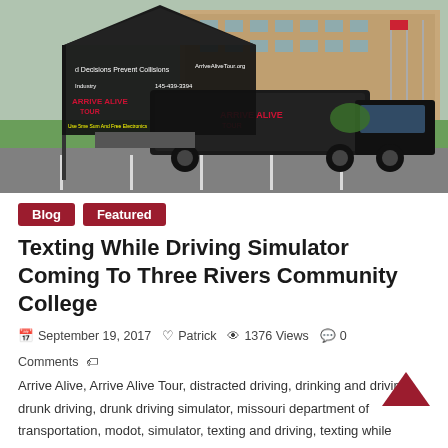[Figure (photo): Arrive Alive Tour truck and branded tent setup in a parking lot in front of a brick office building. The tent and vehicle display 'Arrive Alive Tour' branding and slogans about preventing collisions.]
Blog
Featured
Texting While Driving Simulator Coming To Three Rivers Community College
September 19, 2017   Patrick   1376 Views   0 Comments   Arrive Alive, Arrive Alive Tour, distracted driving, drinking and driving, drunk driving, drunk driving simulator, missouri department of transportation, modot, simulator, texting and driving, texting while driving, texting while driving simulator, unite corporation